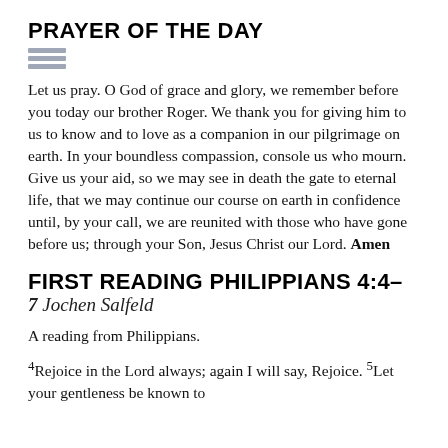PRAYER OF THE DAY
Let us pray. O God of grace and glory, we remember before you today our brother Roger. We thank you for giving him to us to know and to love as a companion in our pilgrimage on earth. In your boundless compassion, console us who mourn. Give us your aid, so we may see in death the gate to eternal life, that we may continue our course on earth in confidence until, by your call, we are reunited with those who have gone before us; through your Son, Jesus Christ our Lord. Amen
FIRST READING PHILIPPIANS 4:4–7 Jochen Salfeld
A reading from Philippians.
4Rejoice in the Lord always; again I will say, Rejoice. 5Let your gentleness be known to